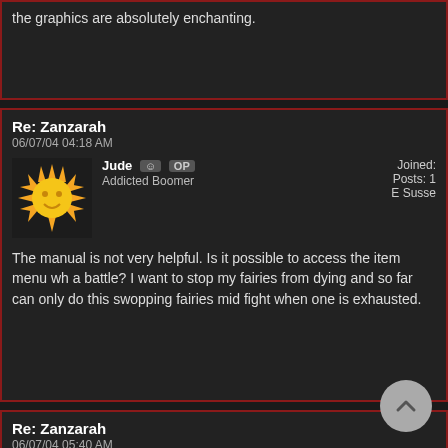the graphics are absolutely enchanting.
Re: Zanzarah
06/07/04 04:18 AM
Jude OP
Addicted Boomer
Joined:
Posts: 1
E Susse
The manual is not very helpful. Is it possible to access the item menu wh a battle? I want to stop my fairies from dying and so far can only do this swopping fairies mid fight when one is exhausted.
Re: Zanzarah
06/07/04 05:40 AM
acornia
Addicted Boomer
Joined: J
Posts: 3.
Kentuck